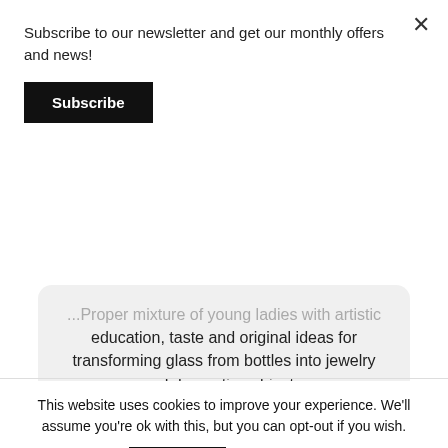Subscribe to our newsletter and get our monthly offers and news!
Subscribe
... education, taste and original ideas for transforming glass from bottles into jewelry and decorative objects.
Leonidas Collas
[Figure (other): Five gold star rating icons]
This website uses cookies to improve your experience. We'll assume you're ok with this, but you can opt-out if you wish.
ACCEPT
READ MORE